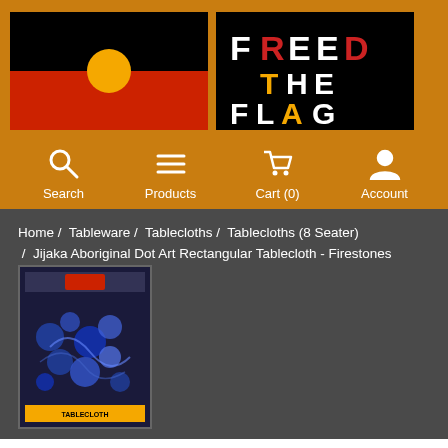[Figure (logo): Aboriginal flag with black top half, red bottom half, and yellow circle in center]
[Figure (logo): Freed The Flag logo on black background with stylized text in white, red, and yellow]
[Figure (illustration): Navigation bar with Search, Products, Cart (0), and Account icons on orange background]
Home / Tableware / Tablecloths / Tablecloths (8 Seater) / Jijaka Aboriginal Dot Art Rectangular Tablecloth - Firestones Purple
[Figure (photo): Product image of Jijaka Aboriginal Dot Art Rectangular Tablecloth - Firestones Purple in packaging showing blue/purple dot art pattern]